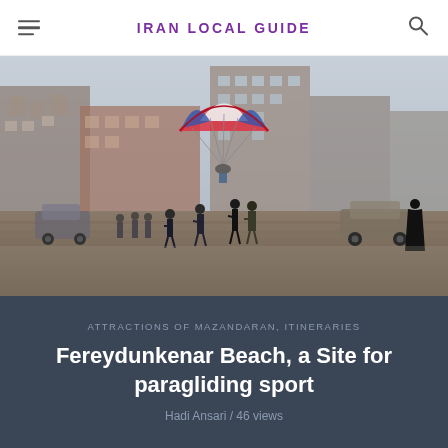IRAN LOCAL GUIDE
[Figure (photo): Paraglider flying over a beach area with people watching on the ground, urban buildings visible in the misty background. Scene at Fereydunkenar Beach, Iran.]
ATTRACTIONS OF MAZANDARAN, ITINERARIES
Fereydunkenar Beach, a Site for paragliding sport
Hadi Ansari / 46 views